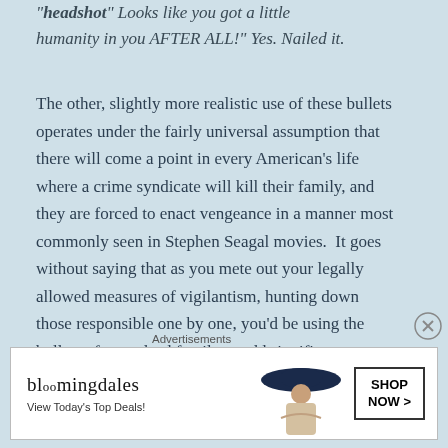"headshot"  Looks like you got a little humanity in you AFTER ALL!"  Yes.  Nailed it.
The other, slightly more realistic use of these bullets operates under the fairly universal assumption that there will come a point in every American's life where a crime syndicate will kill their family, and they are forced to enact vengeance in a manner most commonly seen in Stephen Seagal movies.  It goes without saying that as you mete out your legally allowed measures of vigilantism, hunting down those responsible one by one, you'd be using the bullets of your dead family to add significance to each act of revenge.  In fact, it would be irresponsible of you not to
Advertisements
[Figure (other): Bloomingdale's advertisement banner showing logo, 'View Today's Top Deals!' text, a woman in a large brim hat, and a 'SHOP NOW >' button]